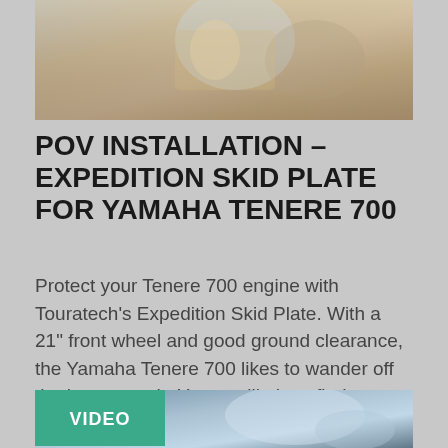[Figure (photo): Close-up photo of hands working on motorcycle part installation, outdoor sunlight setting]
POV INSTALLATION – EXPEDITION SKID PLATE FOR YAMAHA TENERE 700
Protect your Tenere 700 engine with Touratech's Expedition Skid Plate. With a 21" front wheel and good ground clearance, the Yamaha Tenere 700 likes to wander off the beaten path. You are likely to find something on the ground that will make dangerous contact with the underside of your Tenere. You best protect it with [...]
[Figure (photo): Photo of motorcycle (Yamaha Tenere 700) from above/front angle on grass, with a VIDEO badge overlay in teal/green]